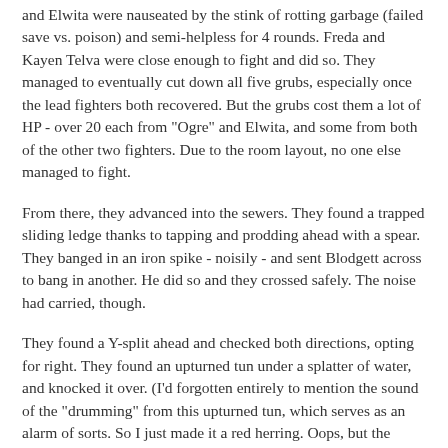and Elwita were nauseated by the stink of rotting garbage (failed save vs. poison) and semi-helpless for 4 rounds. Freda and Kayen Telva were close enough to fight and did so. They managed to eventually cut down all five grubs, especially once the lead fighters both recovered. But the grubs cost them a lot of HP - over 20 each from "Ogre" and Elwita, and some from both of the other two fighters. Due to the room layout, no one else managed to fight.
From there, they advanced into the sewers. They found a trapped sliding ledge thanks to tapping and prodding ahead with a spear. They banged in an iron spike - noisily - and sent Blodgett across to bang in another. He did so and they crossed safely. The noise had carried, though.
They found a Y-split ahead and checked both directions, opting for right. They found an upturned tun under a splatter of water, and knocked it over. (I'd forgotten entirely to mention the sound of the "drumming" from this upturned tun, which serves as an alarm of sorts. So I just made it a red herring. Oops, but the spiking was alarm enough so it didn't matter.)